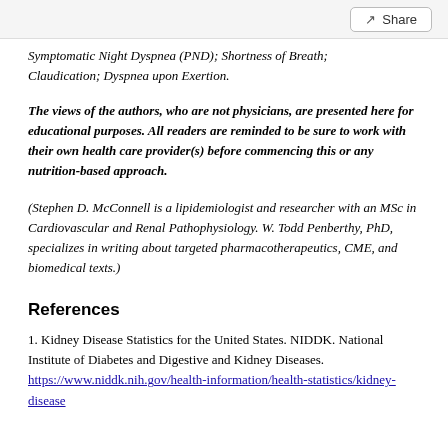Symptomatic Night Dyspnea (PND); Shortness of Breath; Claudication; Dyspnea upon Exertion.
The views of the authors, who are not physicians, are presented here for educational purposes. All readers are reminded to be sure to work with their own health care provider(s) before commencing this or any nutrition-based approach.
(Stephen D. McConnell is a lipidemiologist and researcher with an MSc in Cardiovascular and Renal Pathophysiology. W. Todd Penberthy, PhD, specializes in writing about targeted pharmacotherapeutics, CME, and biomedical texts.)
References
1. Kidney Disease Statistics for the United States. NIDDK. National Institute of Diabetes and Digestive and Kidney Diseases. https://www.niddk.nih.gov/health-information/health-statistics/kidney-disease